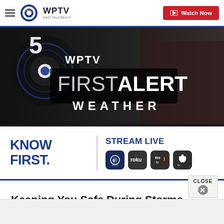[Figure (logo): WPTV West Palm Beach navigation bar with hamburger menu, WPTV logo, and red Watch Now button]
[Figure (screenshot): WPTV First Alert Weather banner showing studio background with 'FIRST ALERT WEATHER' branding in large white text on dark background]
[Figure (infographic): Know First. Stream Live section with streaming platform icons: WPTV app, Roku, Fire TV, Apple TV]
Keeping You Safe During Storms